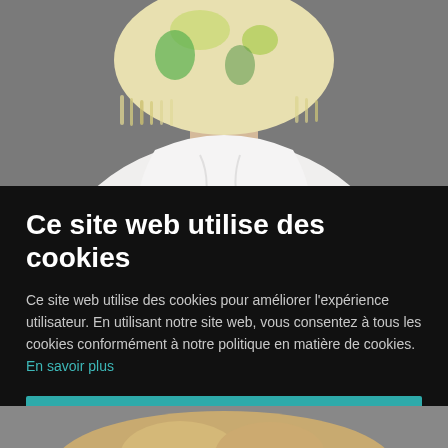[Figure (photo): Person with colorful blonde/green short bob hairstyle wearing a white top, shot from behind/side, grey background]
Ce site web utilise des cookies
Ce site web utilise des cookies pour améliorer l'expérience utilisateur. En utilisant notre site web, vous consentez à tous les cookies conformément à notre politique en matière de cookies. En savoir plus
[Figure (photo): Partial view of blonde woman, bottom strip]